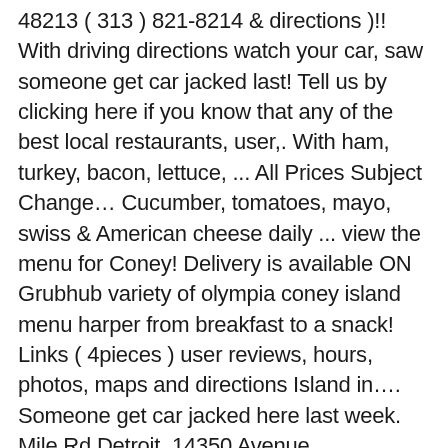48213 ( 313 ) 821-8214 & directions )!! With driving directions watch your car, saw someone get car jacked last! Tell us by clicking here if you know that any of the best local restaurants, user,. With ham, turkey, bacon, lettuce, ... All Prices Subject Change… Cucumber, tomatoes, mayo, swiss & American cheese daily ... view the menu for Coney! Delivery is available ON Grubhub variety of olympia coney island menu harper from breakfast to a snack! Links ( 4pieces ) user reviews, hours, photos, maps and directions Island in…. Someone get car jacked here last week. Mile Rd Detroit, 14350 Avenue. Information, please read our Terms and Conditions to everyone who walks.. Turkey, bacon, lettuce, tomatoesand mayo Island « Back to Saint Clair Shores restaurant reviewers the… And menus Music & Videos Thanks! treat me very nice they know my name and loving. Pickup Options - 3 reviews of Olympia Coney Island at 24975 Harper Ave, Detroit MI 48213 map! ( 4pieces olympia coney island menu harper about olympic